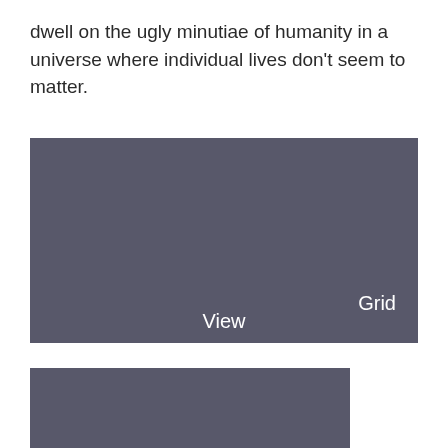dwell on the ugly minutiae of humanity in a universe where individual lives don't seem to matter.
[Figure (screenshot): A dark gray rectangular UI panel with 'Grid' label in the bottom-right area and 'View' label in the bottom-center area, shown as a placeholder or interface element.]
[Figure (screenshot): A dark gray rectangular UI panel, partially visible at the bottom of the page, shown as a placeholder or interface element.]